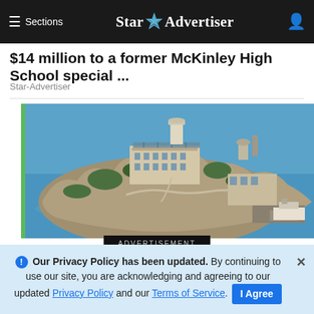≡ Sections  Star✦Advertiser
$14 million to a former McKinley High School special ...
Star-Advertiser
[Figure (photo): Aerial photograph of Alcatraz Island in San Francisco Bay, showing the prison buildings, rocky terrain, surrounding water, and a dock with a ferry boat.]
ADVERTISEMENT
❶ Our Privacy Policy has been updated. By continuing to use our site, you are acknowledging and agreeing to our updated Privacy Policy and our Terms of Service. I Agree